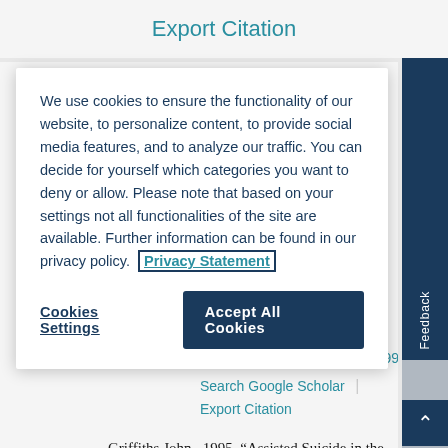Export Citation
We use cookies to ensure the functionality of our website, to personalize content, to provide social media features, and to analyze our traffic. You can decide for yourself which categories you want to deny or allow. Please note that based on your settings not all functionalities of the site are available. Further information can be found in our privacy policy. Privacy Statement
Cookies Settings
Accept All Cookies
https://doi.org/10.1080/00048402.2013.765899.
Search Google Scholar
Export Citation
Griffiths John . 1995. “Assisted Suicide in the Netherlands: The Chabot Case.” The Modern Law Review 58 (2): 232–48.
Feedback